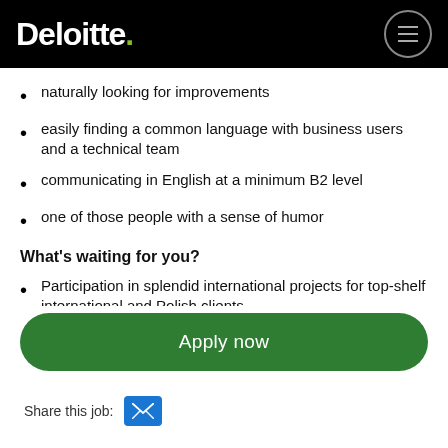Deloitte.
naturally looking for improvements
easily finding a common language with business users and a technical team
communicating in English at a minimum B2 level
one of those people with a sense of humor
What's waiting for you?
Participation in splendid international projects for top-shelf international and Polish clients
Work with Marketing Automation technology...